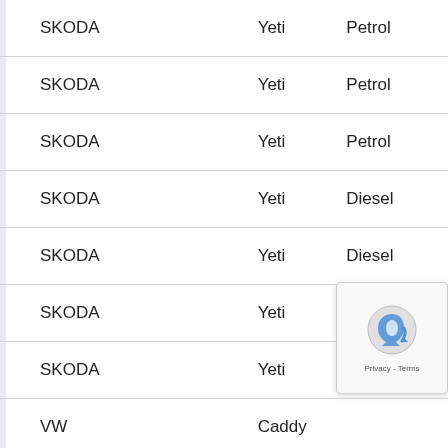| SKODA | Yeti | Petrol |
| SKODA | Yeti | Petrol |
| SKODA | Yeti | Petrol |
| SKODA | Yeti | Diesel |
| SKODA | Yeti | Diesel |
| SKODA | Yeti | Diesel |
| SKODA | Yeti | Diesel |
| VW | Caddy |  |
| VW | Caddy | CNG (wit |